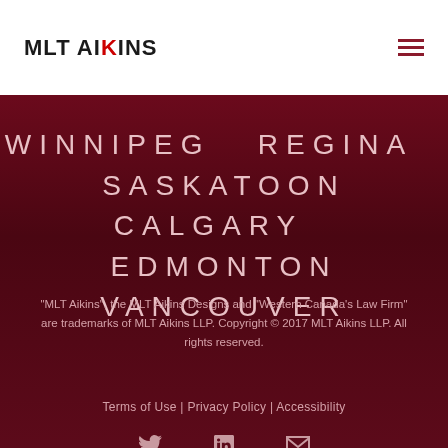MLT AIKINS
WINNIPEG  REGINA  SASKATOON  CALGARY  EDMONTON  VANCOUVER
“MLT Aikins”, the MLT Aikins Designs and “Western Canada’s Law Firm” are trademarks of MLT Aikins LLP. Copyright © 2017 MLT Aikins LLP. All rights reserved.
Terms of Use | Privacy Policy | Accessibility
[Figure (illustration): Social media icons: Twitter bird, LinkedIn 'in', and envelope/email icon]